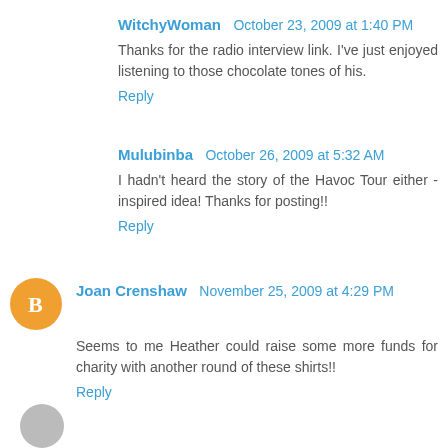WitchyWoman October 23, 2009 at 1:40 PM
Thanks for the radio interview link. I've just enjoyed listening to those chocolate tones of his.
Reply
Mulubinba October 26, 2009 at 5:32 AM
I hadn't heard the story of the Havoc Tour either - inspired idea! Thanks for posting!!
Reply
Joan Crenshaw November 25, 2009 at 4:29 PM
Seems to me Heather could raise some more funds for charity with another round of these shirts!!
Reply